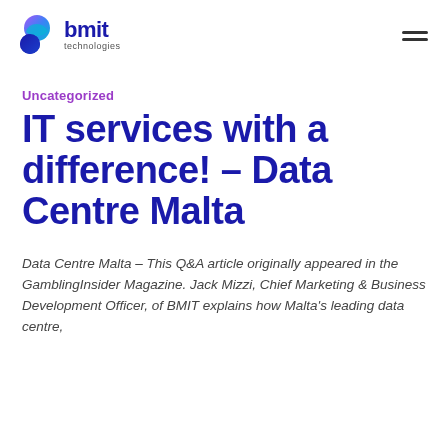bmit technologies
Uncategorized
IT services with a difference! – Data Centre Malta
Data Centre Malta – This Q&A article originally appeared in the GamblingInsider Magazine. Jack Mizzi, Chief Marketing & Business Development Officer, of BMIT explains how Malta's leading data centre,